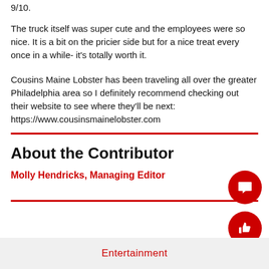9/10.
The truck itself was super cute and the employees were so nice. It is a bit on the pricier side but for a nice treat every once in a while- it's totally worth it.
Cousins Maine Lobster has been traveling all over the greater Philadelphia area so I definitely recommend checking out their website to see where they'll be next: https://www.cousinsmainelobster.com
About the Contributor
Molly Hendricks, Managing Editor
Entertainment